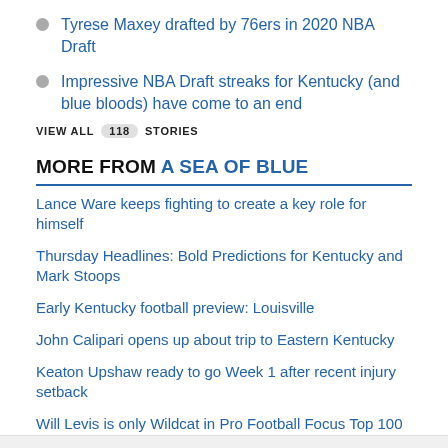Tyrese Maxey drafted by 76ers in 2020 NBA Draft
Impressive NBA Draft streaks for Kentucky (and blue bloods) have come to an end
VIEW ALL 118 STORIES
MORE FROM A SEA OF BLUE
Lance Ware keeps fighting to create a key role for himself
Thursday Headlines: Bold Predictions for Kentucky and Mark Stoops
Early Kentucky football preview: Louisville
John Calipari opens up about trip to Eastern Kentucky
Keaton Upshaw ready to go Week 1 after recent injury setback
Will Levis is only Wildcat in Pro Football Focus Top 100 Big Board